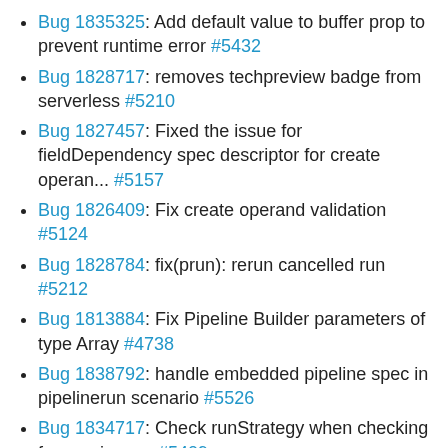Bug 1835325: Add default value to buffer prop to prevent runtime error #5432
Bug 1828717: removes techpreview badge from serverless #5210
Bug 1827457: Fixed the issue for fieldDependency spec descriptor for create operan... #5157
Bug 1826409: Fix create operand validation #5124
Bug 1828784: fix(prun): rerun cancelled run #5212
Bug 1813884: Fix Pipeline Builder parameters of type Array #4738
Bug 1838792: handle embedded pipeline spec in pipelinerun scenario #5526
Bug 1834717: Check runStrategy when checking for running vm #5409
Bug 1821625: Fix bug where networking metrics unavailable to regular users #5001
Bug 1831137: Fix create operand form advanced field bug #5125
Bug 1834331: Add column Storage Class for PVCs